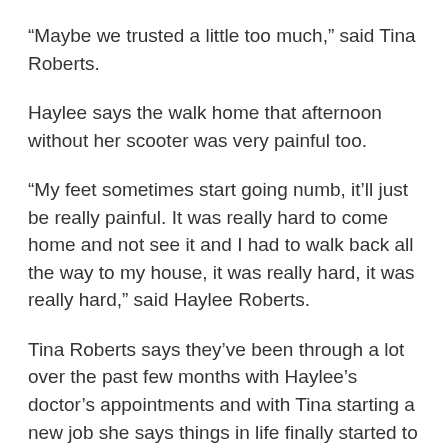“Maybe we trusted a little too much,” said Tina Roberts.
Haylee says the walk home that afternoon without her scooter was very painful too.
“My feet sometimes start going numb, it’ll just be really painful. It was really hard to come home and not see it and I had to walk back all the way to my house, it was really hard, it was really hard,” said Haylee Roberts.
Tina Roberts says they’ve been through a lot over the past few months with Haylee’s doctor’s appointments and with Tina starting a new job she says things in life finally started to settle down.